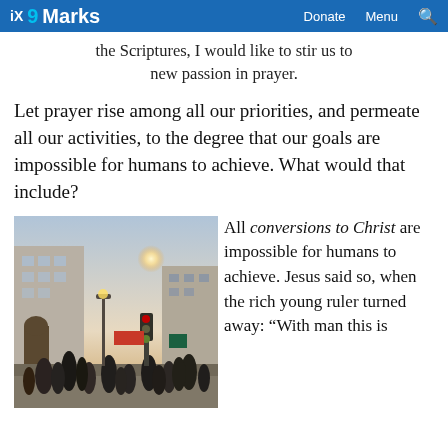9Marks | Donate | Menu
the Scriptures, I would like to stir us to new passion in prayer.
Let prayer rise among all our priorities, and permeate all our activities, to the degree that our goals are impossible for humans to achieve. What would that include?
[Figure (photo): Street scene with a crowd of people walking on a busy city street with sunlight shining through buildings]
All conversions to Christ are impossible for humans to achieve. Jesus said so, when the rich young ruler turned away: “With man this is